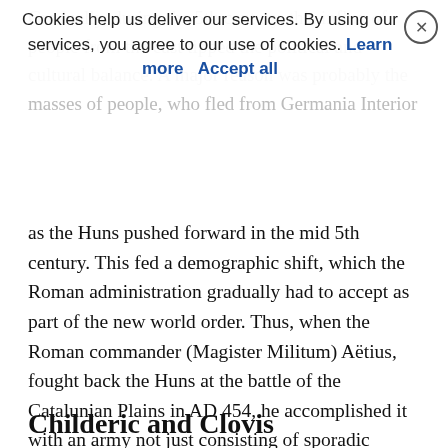Gradually, during the 5th century, this influx of people from the east tipped the political and cultural balance. A major reason was probably the masses of people, who fled from Germania Interior
as the Huns pushed forward in the mid 5th century. This fed a demographic shift, which the Roman administration gradually had to accept as part of the new world order. Thus, when the Roman commander (Magister Militum) Aëtius, fought back the Huns at the battle of the Catalunian Plains in AD 454, he accomplished it with an army not just consisting of sporadic German mercenaries; rather, he built a coalition of allies consisting of (among others) Visigoths, Burgundians and Franks, each ruled by their own warlord or “king”.
Childeric and Clovis